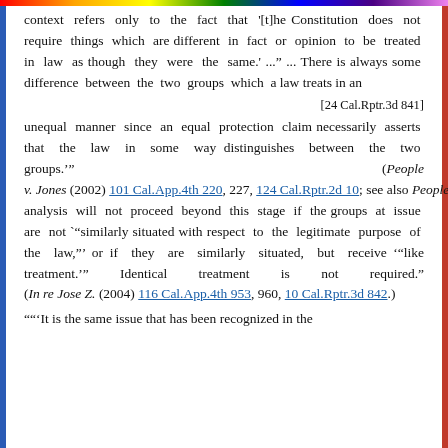context refers only to the fact that '[t]he Constitution does not require things which are different in fact or opinion to be treated in law as though they were the same.' ..." ... There is always some difference between the two groups which a law treats in an
[24 Cal.Rptr.3d 841]
unequal manner since an equal protection claim necessarily asserts that the law in some way distinguishes between the two groups.'" (People v. Jones (2002) 101 Cal.App.4th 220, 227, 124 Cal.Rptr.2d 10; see also People v. Goslar (1999) 70 Cal.App.4th 270, 277, 82 Cal.Rptr.2d 558.) "The analysis will not proceed beyond this stage if the groups at issue are not '"similarly situated with respect to the legitimate purpose of the law,"' or if they are similarly situated, but receive '"like treatment.'" Identical treatment is not required." (In re Jose Z. (2004) 116 Cal.App.4th 953, 960, 10 Cal.Rptr.3d 842.)
""'It is the same issue that has been recognized in the...